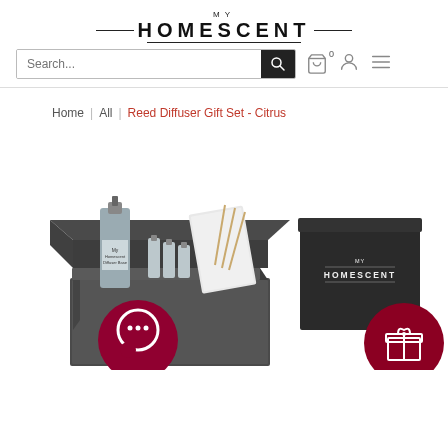MY HOMESCENT
Search...
Home | All | Reed Diffuser Gift Set - Citrus
[Figure (photo): Reed Diffuser Gift Set in Citrus scent. Shows an open dark grey gift box containing a large bottle of diffuser base, small vials, reed sticks, and accessories. Next to it sits a closed dark box with MY HOMESCENT branding. A dark red circular chat bubble icon is on the lower left and a dark red gift icon circle is on the lower right.]